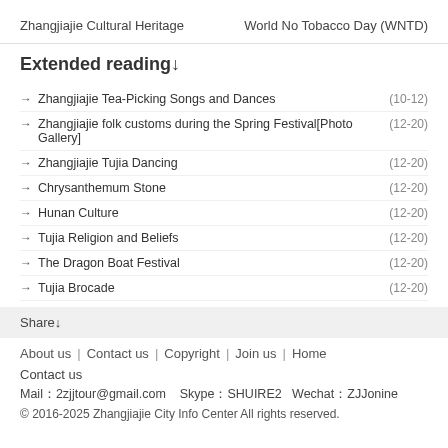Zhangjiajie Cultural Heritage    World No Tobacco Day (WNTD)
Extended reading↓
→ Zhangjiajie Tea-Picking Songs and Dances  (10-12)
→ Zhangjiajie folk customs during the Spring Festival[Photo Gallery]  (12-20)
→ Zhangjiajie Tujia Dancing  (12-20)
→ Chrysanthemum Stone  (12-20)
→ Hunan Culture  (12-20)
→ Tujia Religion and Beliefs  (12-20)
→ The Dragon Boat Festival  (12-20)
→ Tujia Brocade  (12-20)
Share↓
About us  |  Contact us  |  Copyright  |  Join us  |  Home
Contact us
Mail：2zjjtour@gmail.com   Skype：SHUIRE2  Wechat：ZJJonine
© 2016-2025 Zhangjiajie City Info Center All rights reserved.